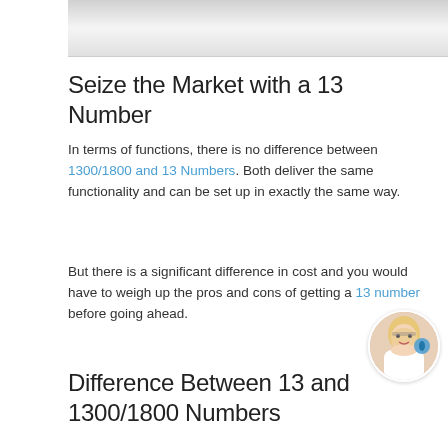[Figure (photo): Cropped photo/banner at the top of the page, showing a grey gradient image area]
Seize the Market with a 13 Number
In terms of functions, there is no difference between 1300/1800 and 13 Numbers. Both deliver the same functionality and can be set up in exactly the same way.
But there is a significant difference in cost and you would have to weigh up the pros and cons of getting a 13 number before going ahead.
[Figure (photo): Circular photo of a blonde woman wearing glasses, talking on a blue phone]
Difference Between 13 and 1300/1800 Numbers